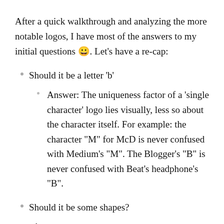After a quick walkthrough and analyzing the more notable logos, I have most of the answers to my initial questions 😀. Let's have a re-cap:
Should it be a letter 'b'
Answer: The uniqueness factor of a 'single character' logo lies visually, less so about the character itself. For example: the character "M" for McD is never confused with Medium's "M". The Blogger's "B" is never confused with Beat's headphone's "B".
Should it be some shapes?
Answer: (partial, cut off)